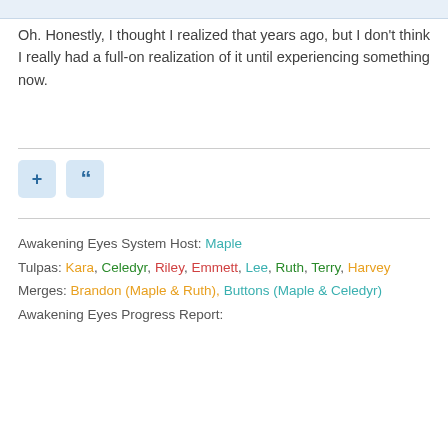Oh. Honestly, I thought I realized that years ago, but I don't think I really had a full-on realization of it until experiencing something now.
[Figure (other): Two UI buttons: a plus (+) button and a quote (“) button, styled in light blue]
Awakening Eyes System Host: Maple
Tulpas: Kara, Celedyr, Riley, Emmett, Lee, Ruth, Terry, Harvey
Merges: Brandon (Maple & Ruth), Buttons (Maple & Celedyr)
Awakening Eyes Progress Report: